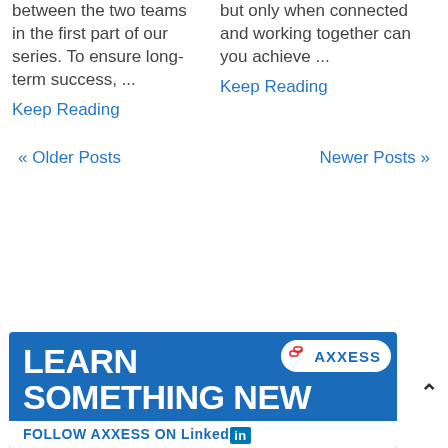between the two teams in the first part of our series. To ensure long-term success, ...
Keep Reading
but only when connected and working together can you achieve ...
Keep Reading
« Older Posts
Newer Posts »
[Figure (infographic): Axxess advertisement banner with blue background. Large white text reads 'LEARN SOMETHING NEW'. Top right has Axxess logo on white rounded background. Bottom has white bar with text 'FOLLOW AXXESS ON LinkedIn' with LinkedIn icon.]